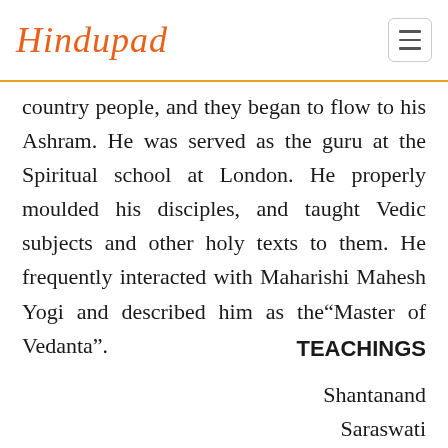Hindupad
country people, and they began to flow to his Ashram. He was served as the guru at the Spiritual school at London. He properly moulded his disciples, and taught Vedic subjects and other holy texts to them. He frequently interacted with Maharishi Mahesh Yogi and described him as the“Master of Vedanta”.
TEACHINGS
Shantanand Saraswati taught that